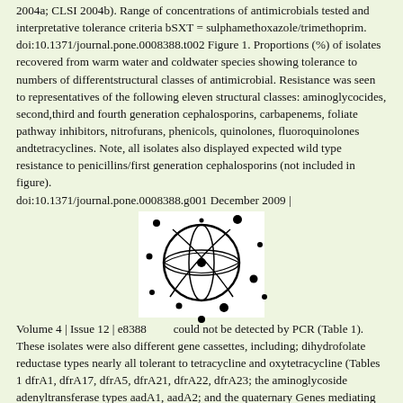2004a; CLSI 2004b). Range of concentrations of antimicrobials tested and interpretative tolerance criteria bSXT = sulphamethoxazole/trimethoprim. doi:10.1371/journal.pone.0008388.t002 Figure 1. Proportions (%) of isolates recovered from warm water and coldwater species showing tolerance to numbers of differentstructural classes of antimicrobial. Resistance was seen to representatives of the following eleven structural classes: aminoglycocides, second,third and fourth generation cephalosporins, carbapenems, foliate pathway inhibitors, nitrofurans, phenicols, quinolones, fluoroquinolones andtetracyclines. Note, all isolates also displayed expected wild type resistance to penicillins/first generation cephalosporins (not included in figure). doi:10.1371/journal.pone.0008388.g001 December 2009 |
[Figure (illustration): A circular diagram resembling a globe or network with intersecting curved lines and scattered dots around it, rendered in black and white on a light background.]
Volume 4 | Issue 12 | e8388        could not be detected by PCR (Table 1). These isolates were also different gene cassettes, including; dihydrofolate reductase types nearly all tolerant to tetracycline and oxytetracycline (Tables 1 dfrA1, dfrA17, dfrA5, dfrA21, dfrA22, dfrA23; the aminoglycoside adenyltransferase types aadA1, aadA2; and the quaternary Genes mediating resistance to betalactams (bla_OXA7 and bla_TEM1) were detected in many of the isolates by microarray (Table 3). The 19 other inserts sequenced contained other cloned and, in the case of bla_TEM1, PCR. A number of isolates were also sections of microbial community DNA (partial copies of bacterial positive for the presence of qnrS using the miniaturized DNA...